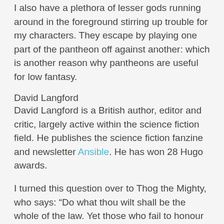I also have a plethora of lesser gods running around in the foreground stirring up trouble for my characters. They escape by playing one part of the pantheon off against another: which is another reason why pantheons are useful for low fantasy.
David Langford
David Langford is a British author, editor and critic, largely active within the science fiction field. He publishes the science fiction fanzine and newsletter Ansible. He has won 28 Hugo awards.
I turned this question over to Thog the Mighty, who says: “Do what thou wilt shall be the whole of the law. Yet those who fail to honour Thog may be condemned to the ETERNAL TORMENT of seeing their beloved prose writhe in agony upon the blazing racks, griddles and comfy chairs of Thog’s Masterclass! I, Thog, have spoken. So